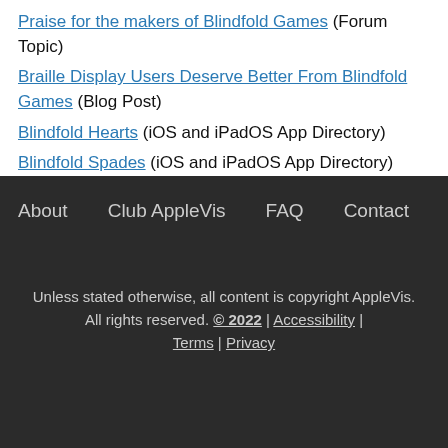Praise for the makers of Blindfold Games (Forum Topic)
Braille Display Users Deserve Better From Blindfold Games (Blog Post)
Blindfold Hearts (iOS and iPadOS App Directory)
Blindfold Spades (iOS and iPadOS App Directory)
About | Club AppleVis | FAQ | Contact
Unless stated otherwise, all content is copyright AppleVis. All rights reserved. © 2022 | Accessibility | Terms | Privacy